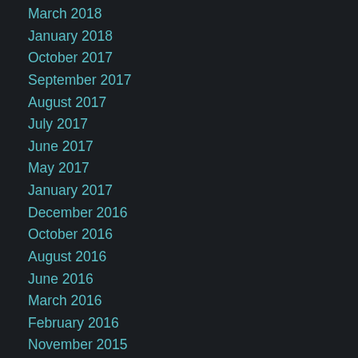March 2018
January 2018
October 2017
September 2017
August 2017
July 2017
June 2017
May 2017
January 2017
December 2016
October 2016
August 2016
June 2016
March 2016
February 2016
November 2015
September 2015
August 2015